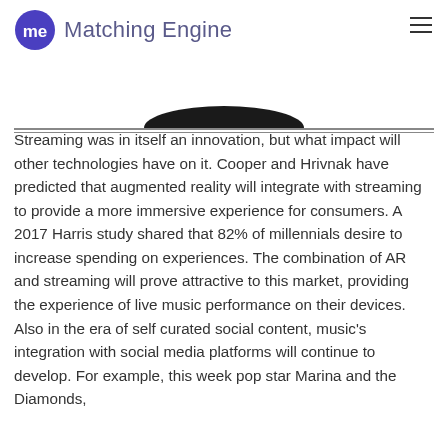Matching Engine
[Figure (illustration): Dark arc/ellipse shape centered near top of content area, above a double horizontal rule divider]
Streaming was in itself an innovation, but what impact will other technologies have on it. Cooper and Hrivnak have predicted that augmented reality will integrate with streaming to provide a more immersive experience for consumers. A 2017 Harris study shared that 82% of millennials desire to increase spending on experiences. The combination of AR and streaming will prove attractive to this market, providing the experience of live music performance on their devices. Also in the era of self curated social content, music's integration with social media platforms will continue to develop. For example, this week pop star Marina and the Diamonds,